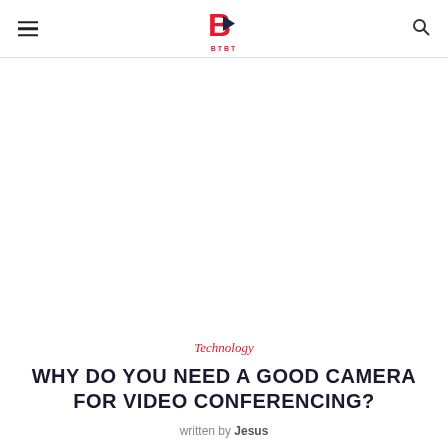BTBT logo, navigation menu, search icon
Technology
WHY DO YOU NEED A GOOD CAMERA FOR VIDEO CONFERENCING?
written by Jesus